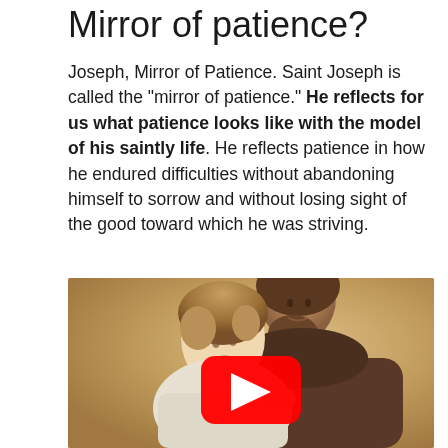Mirror of patience?
Joseph, Mirror of Patience. Saint Joseph is called the "mirror of patience." He reflects for us what patience looks like with the model of his saintly life. He reflects patience in how he endured difficulties without abandoning himself to sorrow and without losing sight of the good toward which he was striving.
[Figure (photo): A painting of Saint Joseph holding the child Jesus, with a YouTube play button overlay indicating an embedded video. The painting shows a bearded man tenderly holding a young child against his chest.]